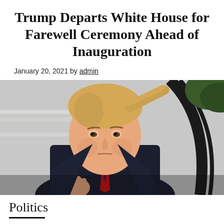Trump Departs White House for Farewell Ceremony Ahead of Inauguration
January 20, 2021 by admin
[Figure (photo): Donald Trump standing outside the White House in a dark suit and red tie, with white marble steps and a black iron railing visible in the background. He appears to be gesturing with one hand.]
Politics